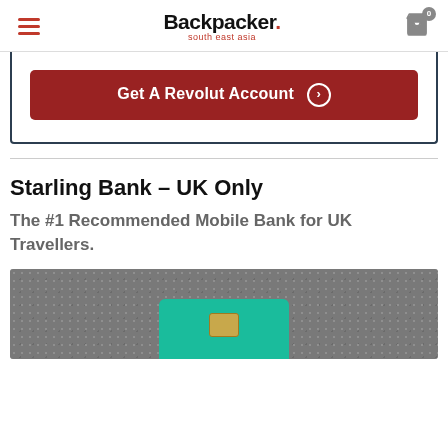Backpacker. south east asia
[Figure (other): Red 'Get A Revolut Account' call-to-action button inside a dark-bordered white box]
Starling Bank – UK Only
The #1 Recommended Mobile Bank for UK Travellers.
[Figure (photo): A teal/turquoise bank card with gold chip on a dark gravel background]